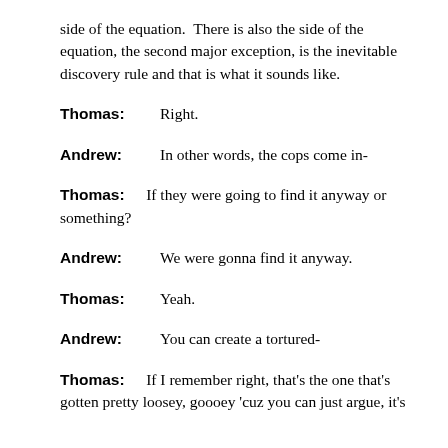side of the equation.  There is also the side of the equation, the second major exception, is the inevitable discovery rule and that is what it sounds like.
Thomas:  Right.
Andrew:  In other words, the cops come in-
Thomas:  If they were going to find it anyway or something?
Andrew:  We were gonna find it anyway.
Thomas:  Yeah.
Andrew:  You can create a tortured-
Thomas:  If I remember right, that's the one that's gotten pretty loosey, goooey 'cuz you can just argue, it's